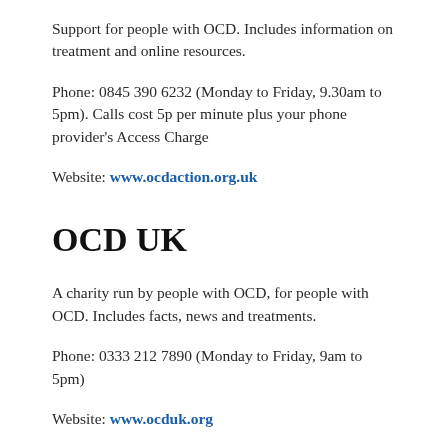Support for people with OCD. Includes information on treatment and online resources.
Phone: 0845 390 6232 (Monday to Friday, 9.30am to 5pm). Calls cost 5p per minute plus your phone provider's Access Charge
Website: www.ocdaction.org.uk
OCD UK
A charity run by people with OCD, for people with OCD. Includes facts, news and treatments.
Phone: 0333 212 7890 (Monday to Friday, 9am to 5pm)
Website: www.ocduk.org